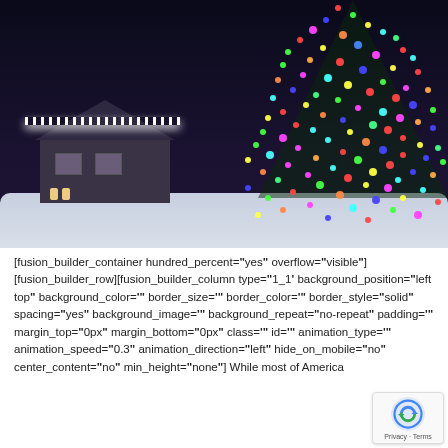[Figure (photo): Night-time photo of a house decorated with white icicle lights on the roof, with a large Christmas tree covered in colorful multicolored lights in the foreground right, and snow on the ground.]
[fusion_builder_container hundred_percent="yes" overflow="visible"][fusion_builder_row][fusion_builder_column type="1_1" background_position="left top" background_color="" border_size="" border_color="" border_style="solid" spacing="yes" background_image="" background_repeat="no-repeat" padding="" margin_top="0px" margin_bottom="0px" class="" id="" animation_type="" animation_speed="0.3" animation_direction="left" hide_on_mobile="no" center_content="no" min_height="none"] While most of America